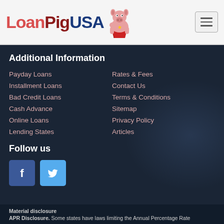LoanPigUSA
Additional Information
Payday Loans
Installment Loans
Bad Credit Loans
Cash Advance
Online Loans
Lending States
Rates & Fees
Contact Us
Terms & Conditions
Sitemap
Privacy Policy
Articles
Follow us
[Figure (logo): Facebook icon - blue square with white F]
[Figure (logo): Twitter icon - light blue square with white bird]
Material disclosure
APR Disclosure. Some states have laws limiting the Annual Percentage Rate